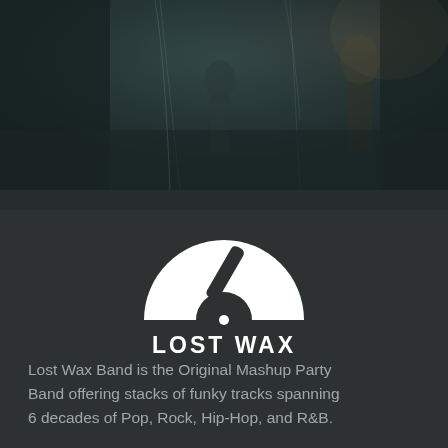[Figure (photo): Dark concert/performance photo showing silhouettes or figures in low-light stage setting with dark teal/green background]
[Figure (logo): Lost Wax band logo: white semicircle vinyl record turntable graphic with 'LOST WAX' text underneath in white bold uppercase letters]
Lost Wax Band is the Original Mashup Party Band offering stacks of funky tracks spanning 6 decades of Pop, Rock, Hip-Hop, and R&B.